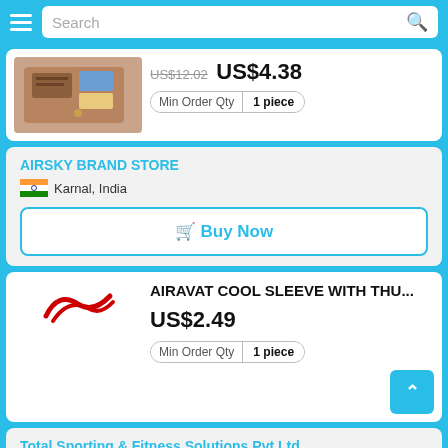Search
[Figure (photo): Brown leather wallet/card holder product image, partially visible]
US$12.02 US$4.38
Min Order Qty 1 piece
AIRSKY BRAND STORE
Karnal, India
Buy Now
[Figure (photo): Red logo/brand mark on white background, product image for Airavat Cool Sleeve]
AIRAVAT COOL SLEEVE WITH THU...
US$2.49
Min Order Qty 1 piece
Total Sporting & Fitness Solutions Pvt Ltd